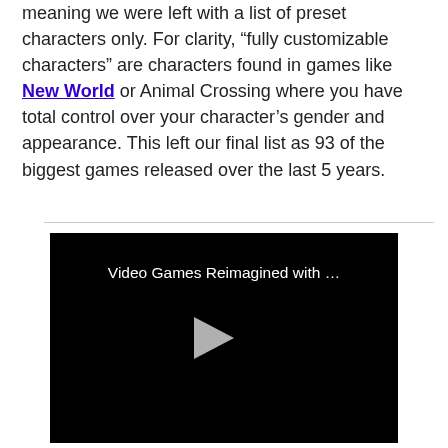meaning we were left with a list of preset characters only. For clarity, “fully customizable characters” are characters found in games like New World or Animal Crossing where you have total control over your character’s gender and appearance. This left our final list as 93 of the biggest games released over the last 5 years.
[Figure (screenshot): Embedded video thumbnail with black background showing title 'Video Games Reimagined with …' and a play button in the center.]